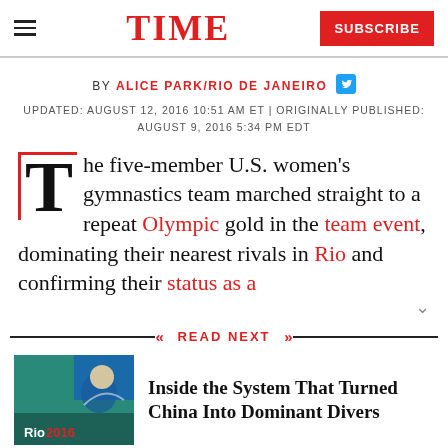TIME — SUBSCRIBE
BY ALICE PARK/RIO DE JANEIRO
UPDATED: AUGUST 12, 2016 10:51 AM ET | ORIGINALLY PUBLISHED: AUGUST 9, 2016 5:34 PM EDT
The five-member U.S. women's gymnastics team marched straight to a repeat Olympic gold in the team event, dominating their nearest rivals in Rio and confirming their status as a
READ NEXT
[Figure (photo): Rio 2016 Olympics diving photo thumbnail]
Inside the System That Turned China Into Dominant Divers